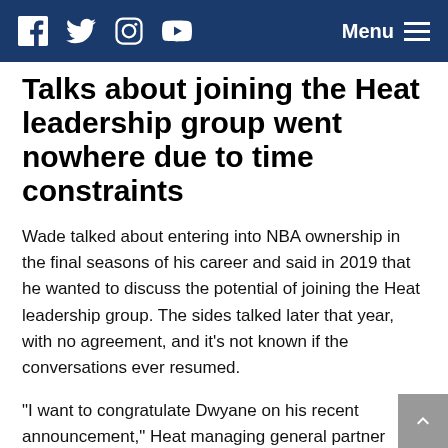Facebook | Twitter | Instagram | YouTube | Menu
Talks about joining the Heat leadership group went nowhere due to time constraints
Wade talked about entering into NBA ownership in the final seasons of his career and said in 2019 that he wanted to discuss the potential of joining the Heat leadership group. The sides talked later that year, with no agreement, and it's not known if the conversations ever resumed.
“I want to congratulate Dwyane on his recent announcement,” Heat managing general partner Micky Arison said Friday. “We had discussed having him join